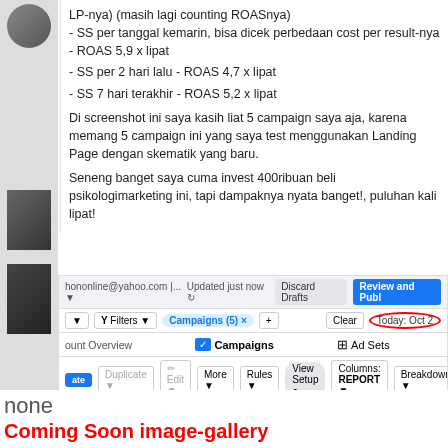[Figure (screenshot): Social media post screenshot showing Indonesian text about campaign ROAS results and a Facebook Ads Manager interface]
none
Coming Soon image-gallery